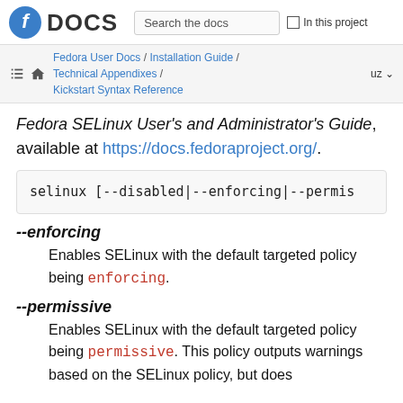Fedora DOCS | Search the docs | In this project
Fedora User Docs / Installation Guide / Technical Appendixes / Kickstart Syntax Reference | uz
Fedora SELinux User's and Administrator's Guide, available at https://docs.fedoraproject.org/.
selinux [--disabled|--enforcing|--permis
--enforcing
Enables SELinux with the default targeted policy being enforcing.
--permissive
Enables SELinux with the default targeted policy being permissive. This policy outputs warnings based on the SELinux policy, but does